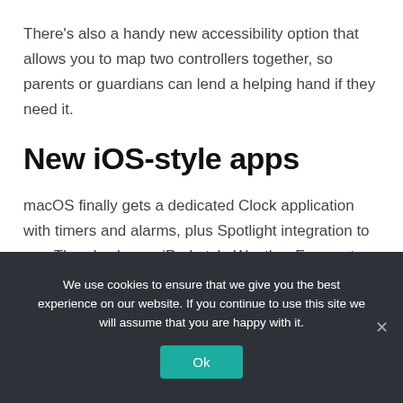There's also a handy new accessibility option that allows you to map two controllers together, so parents or guardians can lend a helping hand if they need it.
New iOS-style apps
macOS finally gets a dedicated Clock application with timers and alarms, plus Spotlight integration to run. There's also an iPad-style Weather Forecast app with detailed weather maps, forecasts, weather alerts and fancy animations.
We use cookies to ensure that we give you the best experience on our website. If you continue to use this site we will assume that you are happy with it.